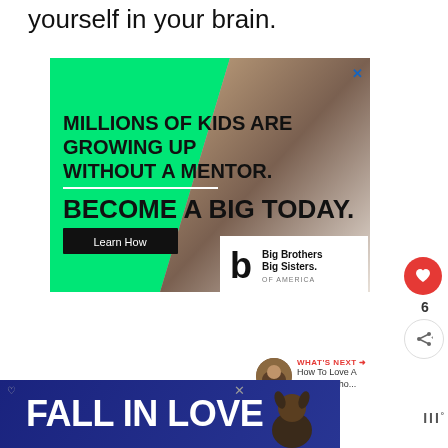yourself in your brain.
[Figure (infographic): Big Brothers Big Sisters of America advertisement. Green background with white diagonal photo of adult and child. Text reads: MILLIONS OF KIDS ARE GROWING UP WITHOUT A MENTOR. BECOME A BIG TODAY. Learn How button. Big Brothers Big Sisters of America logo in white box.]
[Figure (infographic): Social media sidebar with red heart icon, count of 6, and share icon]
[Figure (infographic): What's Next panel showing thumbnail image and text: How To Love A Woman Who...]
[Figure (infographic): Bottom banner ad with dark blue background reading FALL IN LOVE with dog image and close button]